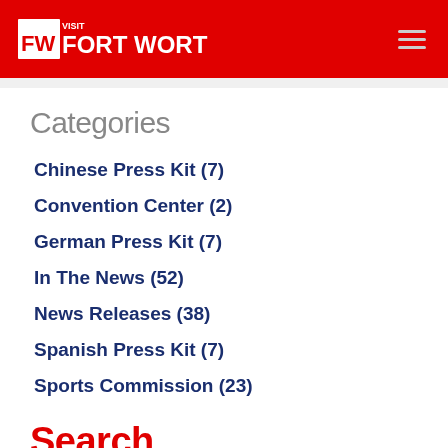Visit Fort Worth
Categories
Chinese Press Kit (7)
Convention Center (2)
German Press Kit (7)
In The News (52)
News Releases (38)
Spanish Press Kit (7)
Sports Commission (23)
Search
From: mm/dd/yyyy